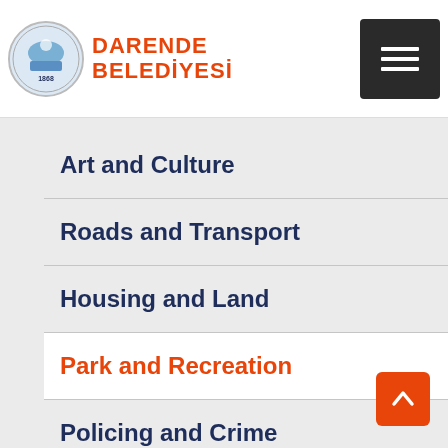DARENDE BELEDİYESİ
Art and Culture
Roads and Transport
Housing and Land
Park and Recreation
Policing and Crime
Agriculture and Food